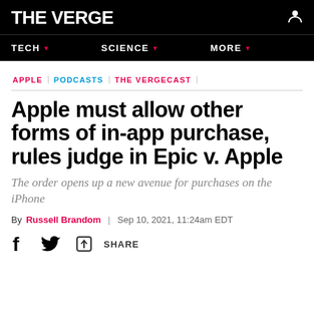THE VERGE
TECH  SCIENCE  MORE
APPLE  PODCASTS  THE VERGECAST
Apple must allow other forms of in-app purchase, rules judge in Epic v. Apple
The order opens up a new avenue for purchases on the iPhone
By Russell Brandom | Sep 10, 2021, 11:24am EDT
f  [twitter]  SHARE